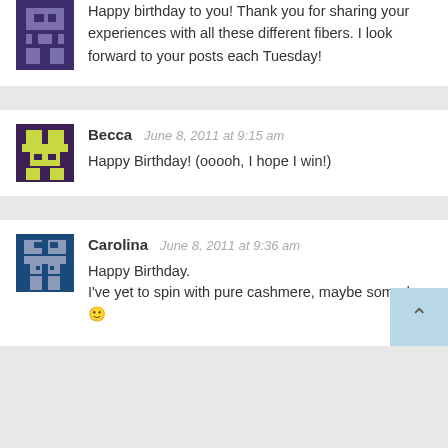Happy birthday to you! Thank you for sharing your experiences with all these different fibers. I look forward to your posts each Tuesday!
Becca  June 8, 2011 at 9:15 am
Happy Birthday! (ooooh, I hope I win!)
Carolina  June 8, 2011 at 9:36 am
Happy Birthday.
I've yet to spin with pure cashmere, maybe someday 🙂